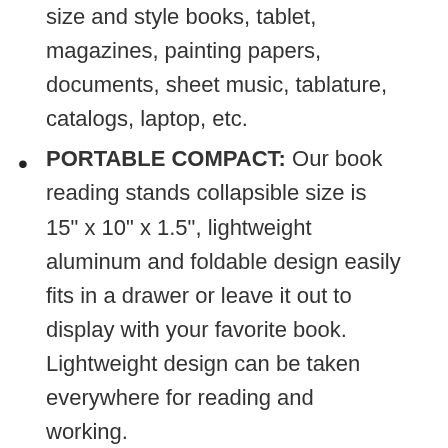size and style books, tablet, magazines, painting papers, documents, sheet music, tablature, catalogs, laptop, etc.
PORTABLE COMPACT: Our book reading stands collapsible size is 15" x 10" x 1.5", lightweight aluminum and foldable design easily fits in a drawer or leave it out to display with your favorite book. Lightweight design can be taken everywhere for reading and working.
MULTIHEIGHTS & ANGLES